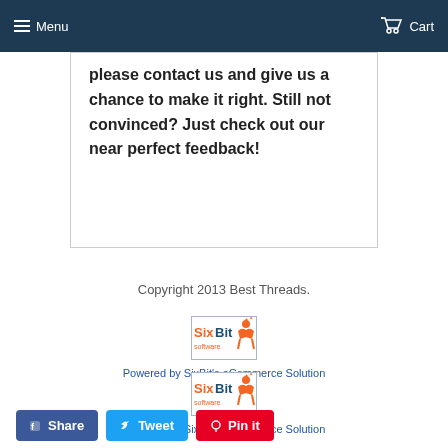Menu  Cart
please contact us and give us a chance to make it right. Still not convinced?  Just check out our near perfect feedback!
Copyright 2013 Best Threads.
[Figure (logo): SixBit Software logo with orange figure and text]
Powered by SixBit's eCommerce Solution
[Figure (logo): SixBit Software logo with orange figure and text (second instance)]
Powered by SixBit's eCommerce Solution
Share
Tweet
Pin it